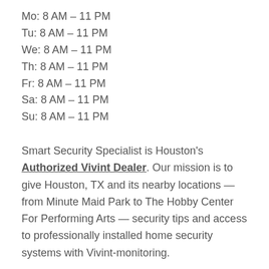Mo: 8 AM – 11 PM
Tu: 8 AM – 11 PM
We: 8 AM – 11 PM
Th: 8 AM – 11 PM
Fr: 8 AM – 11 PM
Sa: 8 AM – 11 PM
Su: 8 AM – 11 PM
Smart Security Specialist is Houston's Authorized Vivint Dealer. Our mission is to give Houston, TX and its nearby locations — from Minute Maid Park to The Hobby Center For Performing Arts — security tips and access to professionally installed home security systems with Vivint-monitoring.